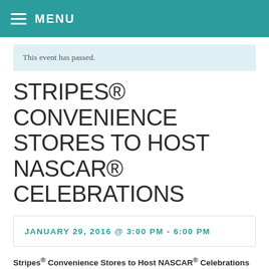MENU
This event has passed.
STRIPES® CONVENIENCE STORES TO HOST NASCAR® CELEBRATIONS
JANUARY 29, 2016 @ 3:00 PM - 6:00 PM
Stripes® Convenience Stores to Host NASCAR® Celebrations at Participating Stripes Stores throughout Rio Grande Valley
Stripes® Convenience Stores will host twelve